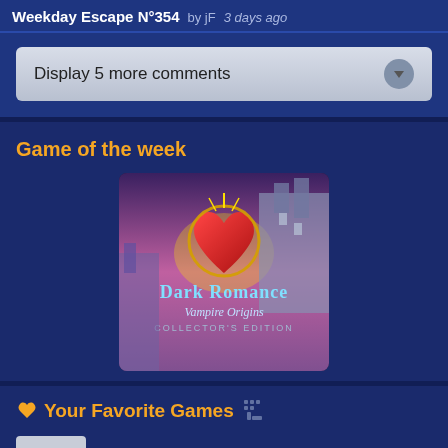Weekday Escape N°354   by jF   3 days ago
Display 5 more comments
Game of the week
[Figure (illustration): Game cover art for Dark Romance: Vampire Origins Collector's Edition showing a glowing red heart wrapped in chains with gothic castle architecture in background]
Your Favorite Games
[Figure (other): Add button placeholder box with a plus sign]